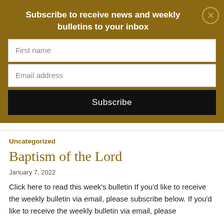Subscribe to receive news and weekly bulletins to your inbox
First name
Email address
Subscribe
Uncategorized
Baptism of the Lord
January 7, 2022
Click here to read this week's bulletin If you'd like to receive the weekly bulletin via email, please subscribe below. If you'd like to receive the weekly bulletin via email, please